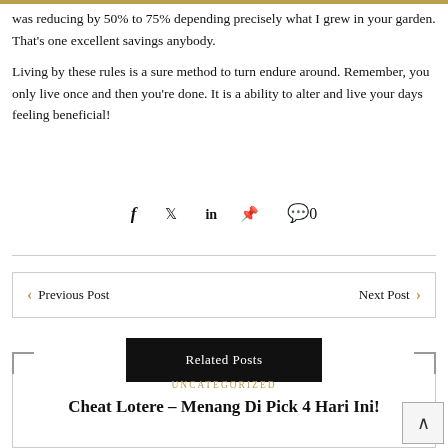was reducing by 50% to 75% depending precisely what I grew in your garden. That’s one excellent savings anybody.
Living by these rules is a sure method to turn endure around. Remember, you only live once and then you’re done. It is a ability to alter and live your days feeling beneficial!
f  🐦  in  📌  💬 0
Previous Post
Next Post
Related Posts
UNCATEGORIZED
Cheat Lotere – Menang Di Pick 4 Hari Ini!